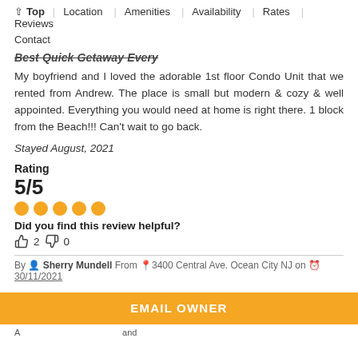↑ Top  Location  Amenities  Availability  Rates  Reviews  Contact
Best Quick Getaway Every
My boyfriend and I loved the adorable 1st floor Condo Unit that we rented from Andrew. The place is small but modern & cozy & well appointed. Everything you would need at home is right there. 1 block from the Beach!!! Can't wait to go back.
Stayed August, 2021
Rating
5/5
Did you find this review helpful?
👍 2  👎 0
By  Sherry Mundell From 📍3400 Central Ave. Ocean City NJ on 🕐 30/11/2021
EMAIL OWNER